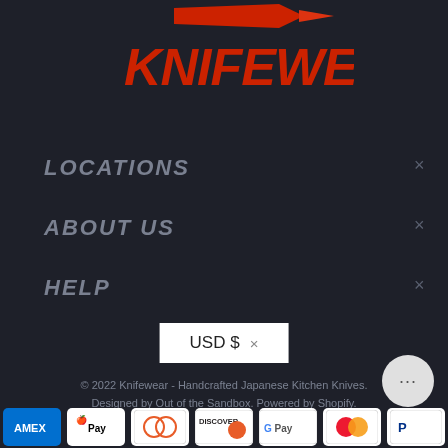[Figure (logo): Knifewear logo in red graffiti-style lettering with a knife/bullet graphic above]
LOCATIONS
ABOUT US
HELP
USD $ ×
© 2022 Knifewear - Handcrafted Japanese Kitchen Knives. Designed by Out of the Sandbox. Powered by Shopify.
[Figure (other): Payment method icons: AMEX, Apple Pay, Diners Club, Discover, Google Pay, Mastercard, PayPal, Shop Pay, Visa]